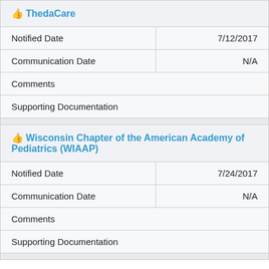| 👍 ThedaCare |  |  |
| Notified Date | 7/12/2017 |
| Communication Date | N/A |
| Comments |  |
| Supporting Documentation |  |
| 👍 Wisconsin Chapter of the American Academy of Pediatrics (WIAAP) |  |  |
| Notified Date | 7/24/2017 |
| Communication Date | N/A |
| Comments |  |
| Supporting Documentation |  |